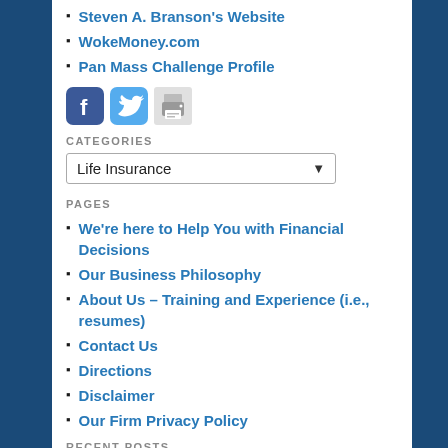Steven A. Branson's Website
WokeMoney.com
Pan Mass Challenge Profile
[Figure (infographic): Row of three social/action icons: Facebook logo (blue rounded square with white f), Twitter bird (blue), and a print icon (gray printer)]
CATEGORIES
[Figure (other): Dropdown selector showing 'Life Insurance' with a down arrow]
PAGES
We're here to Help You with Financial Decisions
Our Business Philosophy
About Us – Training and Experience (i.e., resumes)
Contact Us
Directions
Disclaimer
Our Firm Privacy Policy
RECENT POSTS
Mid-Year planning – Rates, Roths and Rules